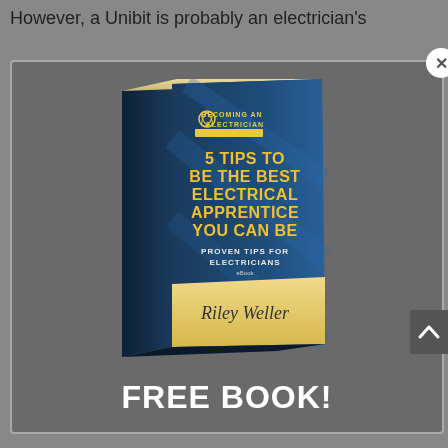However, a Unibit is probably an electrician's
[Figure (illustration): A 3D book cover titled '5 Tips to Be the Best Electrical Apprentice You Can Be - Proven Tips for Electricians eBook' by Riley Weller, with the 'Becoming an Electrician' logo, on a dark teal/blue background, shown at an angle.]
FREE BOOK!